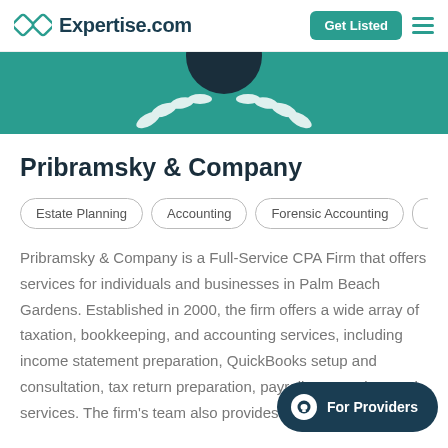Expertise.com | Get Listed
[Figure (illustration): Teal banner with partial wreath illustration showing laurel leaves in white around a dark circular shape]
Pribramsky & Company
Estate Planning
Accounting
Forensic Accounting
Pribramsky & Company is a Full-Service CPA Firm that offers services for individuals and businesses in Palm Beach Gardens. Established in 2000, the firm offers a wide array of taxation, bookkeeping, and accounting services, including income statement preparation, QuickBooks setup and consultation, tax return preparation, payroll preparation, and services. The firm's team also provides assistance with